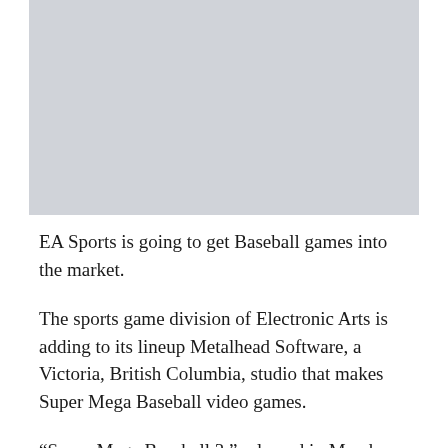[Figure (photo): Gray placeholder image at the top of the page]
EA Sports is going to get Baseball games into the market.
The sports game division of Electronic Arts is adding to its lineup Metalhead Software, a Victoria, British Columbia, studio that makes Super Mega Baseball video games.
“Super Mega Baseball 3,” released in March 2020, has an arcade look, but “it’s a well-made game,” EA